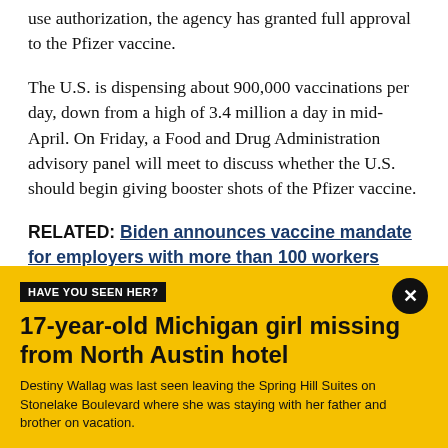use authorization, the agency has granted full approval to the Pfizer vaccine.
The U.S. is dispensing about 900,000 vaccinations per day, down from a high of 3.4 million a day in mid-April. On Friday, a Food and Drug Administration advisory panel will meet to discuss whether the U.S. should begin giving booster shots of the Pfizer vaccine.
RELATED: Biden announces vaccine mandate for employers with more than 100 workers
[Figure (infographic): Yellow banner with black 'HAVE YOU SEEN HER?' label, headline '17-year-old Michigan girl missing from North Austin hotel', and body text about Destiny Wallag. Close button (X) in top right corner.]